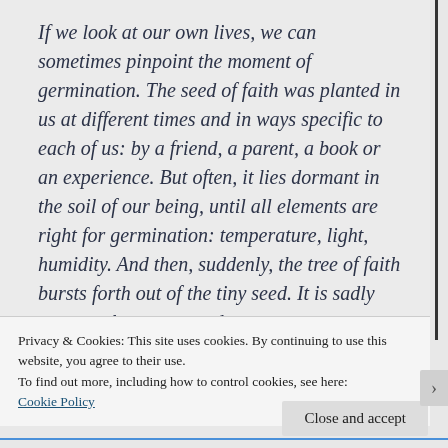If we look at our own lives, we can sometimes pinpoint the moment of germination. The seed of faith was planted in us at different times and in ways specific to each of us: by a friend, a parent, a book or an experience. But often, it lies dormant in the soil of our being, until all elements are right for germination: temperature, light, humidity. And then, suddenly, the tree of faith bursts forth out of the tiny seed. It is sadly too true that some seeds
Privacy & Cookies: This site uses cookies. By continuing to use this website, you agree to their use.
To find out more, including how to control cookies, see here:
Cookie Policy
Close and accept